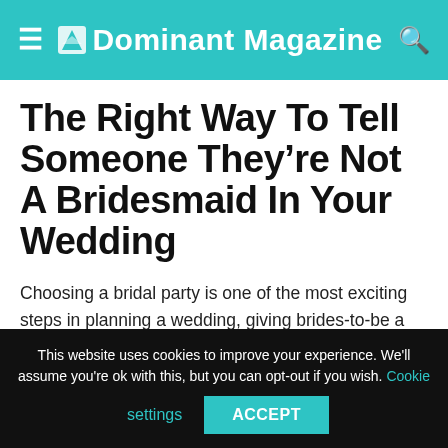Dominant Magazine
The Right Way To Tell Someone They’re Not A Bridesmaid In Your Wedding
Choosing a bridal party is one of the most exciting steps in planning a wedding, giving brides-to-be a chance to honor and acknowledge their core support system. But narrowing it down to a reasonably sized group can sometimes feel impossible.
This website uses cookies to improve your experience. We'll assume you're ok with this, but you can opt-out if you wish. Cookie settings ACCEPT